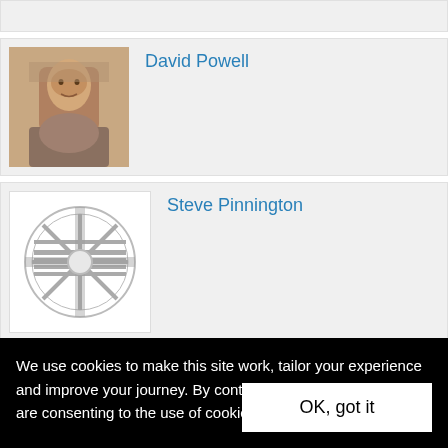[Figure (screenshot): Partial card at top of page, mostly cut off]
David Powell
[Figure (photo): Black and white portrait photo of David Powell]
Steve Pinnington
[Figure (illustration): UK flag / sunburst circular logo icon in grey]
Jack Chambers
[Figure (illustration): UK flag / sunburst circular logo icon in grey, partially visible]
We use cookies to make this site work, tailor your experience and improve your journey. By continuing to use this site you are consenting to the use of cookies. Find out more
OK, got it